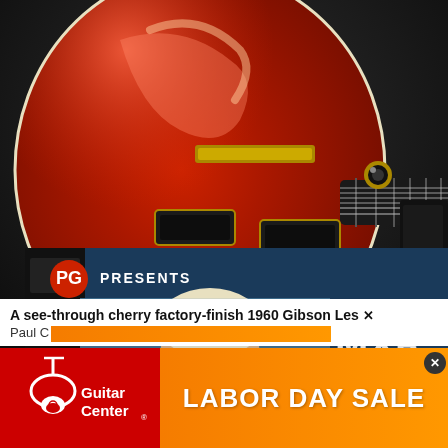[Figure (photo): A red 1960 Gibson Les Paul guitar with gold hardware on a dark background, showing the body and neck with frets]
[Figure (screenshot): Video thumbnail overlay showing PG Presents First Look: MXR Duke of Tone with a person with light hair, play button in center]
been removed until
A see-through cherry factory-finish 1960 Gibson Les Paul C... Paul C...
[Figure (logo): Guitar Center logo with guitar icon - red background with white Guitar Center text and guitar silhouette]
LABOR DAY SALE